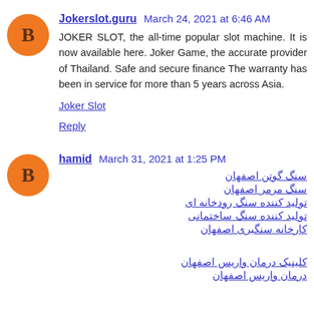Jokerslot.guru  March 24, 2021 at 6:46 AM
JOKER SLOT, the all-time popular slot machine. It is now available here. Joker Game, the accurate provider of Thailand. Safe and secure finance The warranty has been in service for more than 5 years across Asia.
Joker Slot
Reply
hamid  March 31, 2021 at 1:25 PM
سنگ گوتن اصفهان
سنگ مرمر اصفهان
تولید کننده سنگ رودخانه ای
تولید کننده سنگ ساختمانی
کارخانه سنگبری اصفهان
کلینیک درمان واریس اصفهان
درمان واریس اصفهان